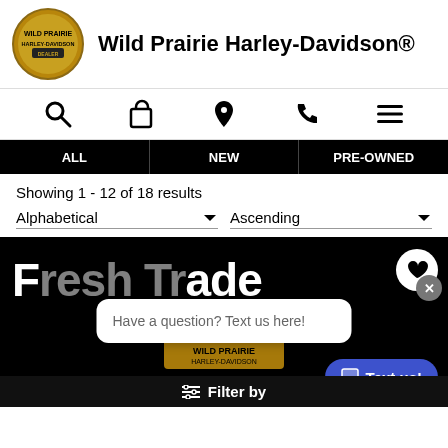[Figure (logo): Wild Prairie Harley-Davidson circular logo with horses and riders]
Wild Prairie Harley-Davidson®
[Figure (infographic): Navigation icon row: search, shopping bag, location pin, phone, hamburger menu]
ALL | NEW | PRE-OWNED
Showing 1 - 12 of 18 results
Alphabetical ▼   Ascending ▼
[Figure (screenshot): Product listing area showing partial title text in white on black background with Wild Prairie logo]
Have a question? Text us here!
Text us!
Filter by